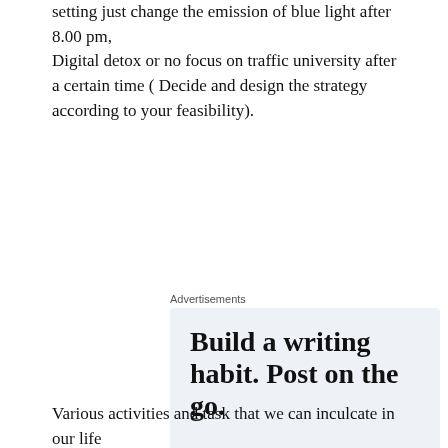setting just change the emission of blue light after 8.00 pm,
Digital detox or no focus on traffic university after a certain time ( Decide and design the strategy according to your feasibility).
Advertisements
[Figure (other): WordPress advertisement: 'Build a writing habit. Post on the go.' with GET THE APP call to action and WordPress logo icon.]
Various activities and task that we can inculcate in our life